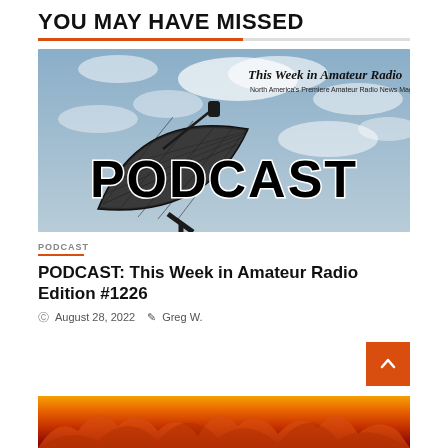YOU MAY HAVE MISSED
[Figure (photo): Podcast thumbnail showing a satellite dish against a cloudy sky with text 'This Week in Amateur Radio – North America's Premiere Amateur Radio News Magazine' and large bold text 'PODCAST' overlaid at the bottom.]
PODCAST
PODCAST: This Week in Amateur Radio Edition #1226
August 28, 2022   Greg W.
[Figure (photo): Bottom partial image showing fire/flames background, appears to be another article thumbnail.]